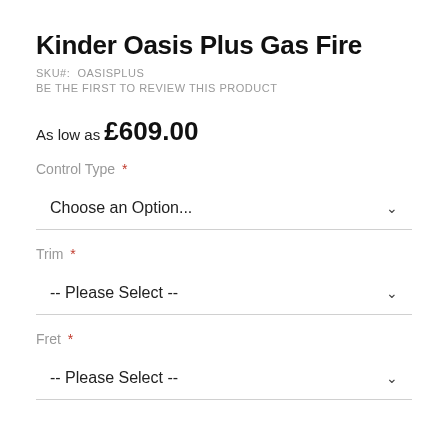Kinder Oasis Plus Gas Fire
SKU#: OASISPLUS
BE THE FIRST TO REVIEW THIS PRODUCT
As low as £609.00
Control Type *
Choose an Option...
Trim *
-- Please Select --
Fret *
-- Please Select --